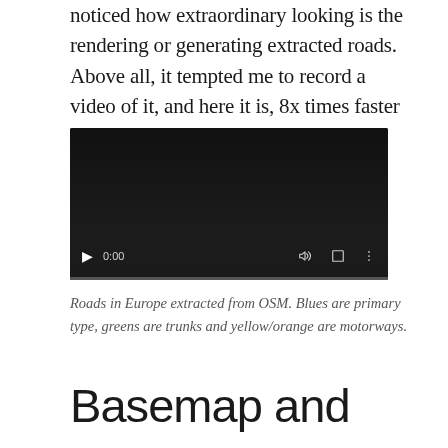noticed how extraordinary looking is the rendering or generating extracted roads. Above all, it tempted me to record a video of it, and here it is, 8x times faster than in reality:
[Figure (screenshot): Embedded video player with dark background showing a video at 0:00 with playback controls including play button, time display, mute, fullscreen, and more options buttons, with a progress bar at the bottom.]
Roads in Europe extracted from OSM. Blues are primary type, greens are trunks and yellow/orange are motorways.
Basemap and